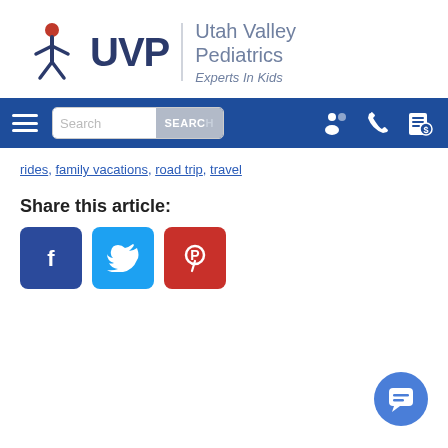[Figure (logo): Utah Valley Pediatrics logo with UVP text and child figure icon, tagline Experts In Kids]
[Figure (screenshot): Navigation bar with hamburger menu, search box with SEARCH button, and icons for patient portal, phone, and billing]
rides, family vacations, road trip, travel
Share this article:
[Figure (illustration): Social share buttons: Facebook (blue), Twitter (light blue), Pinterest (red)]
[Figure (illustration): Blue circular chat FAB button in bottom right corner]